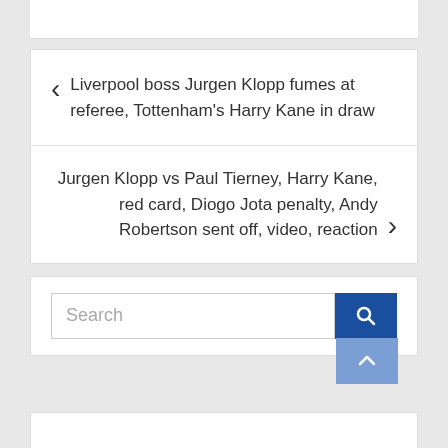Liverpool boss Jurgen Klopp fumes at referee, Tottenham's Harry Kane in draw
Jurgen Klopp vs Paul Tierney, Harry Kane, red card, Diogo Jota penalty, Andy Robertson sent off, video, reaction
[Figure (screenshot): Search bar with blue search button and blue scroll-to-top button]